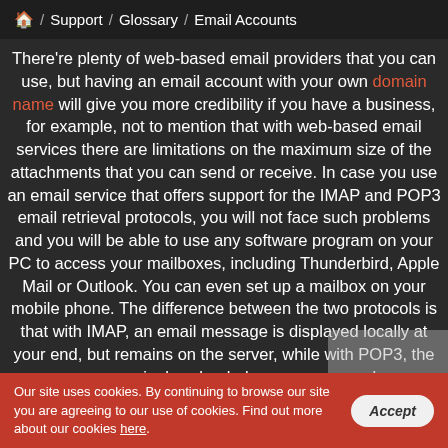🏠 / Support / Glossary / Email Accounts
There're plenty of web-based email providers that you can use, but having an email account with your own domain name will give you more credibility if you have a business, for example, not to mention that with web-based email services there are limitations on the maximum size of the attachments that you can send or receive. In case you use an email service that offers support for the IMAP and POP3 email retrieval protocols, you will not face such problems and you will be able to use any software program on your PC to access your mailboxes, including Thunderbird, Apple Mail or Outlook. You can even set up a mailbox on your mobile phone. The difference between the two protocols is that with IMAP, an email message is displayed locally at your end, but remains on the server, while with POP3, the message is downloaded on your personal
Our site uses cookies. By continuing to browse our site you are agreeing to our use of cookies. Find out more about our cookies here.